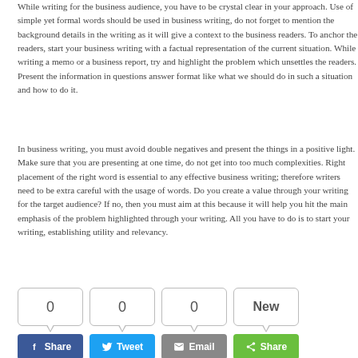While writing for the business audience, you have to be crystal clear in your approach. Use of simple yet formal words should be used in business writing, do not forget to mention the background details in the writing as it will give a context to the business readers. To anchor the readers, start your business writing with a factual representation of the current situation. While writing a memo or a business report, try and highlight the problem which unsettles the readers. Present the information in questions answer format like what we should do in such a situation and how to do it.
In business writing, you must avoid double negatives and present the things in a positive light. Make sure that you are presenting at one time, do not get into too much complexities. Right placement of the right word is essential to any effective business writing; therefore writers need to be extra careful with the usage of words. Do you create a value through your writing for the target audience? If no, then you must aim at this because it will help you hit the main emphasis of the problem highlighted through your writing. All you have to do is to start your writing, establishing utility and relevancy.
[Figure (infographic): Social sharing widget with four speech-bubble counters showing 0, 0, 0, New and four buttons: Facebook Share, Tweet, Email, Share]